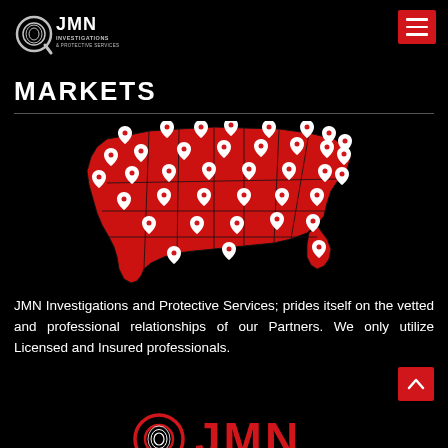[Figure (logo): JMN Investigations and Protective Services logo — magnifying glass with fingerprint icon and text]
MARKETS
[Figure (map): Red 3D map of the United States with white location pin markers on each state]
JMN Investigations and Protective Services; prides itself on the vetted and professional relationships of our Partners. We only utilize Licensed and Insured professionals.
[Figure (logo): JMN Investigations and Protective Services footer logo with circular fingerprint icon and red JMN lettering]